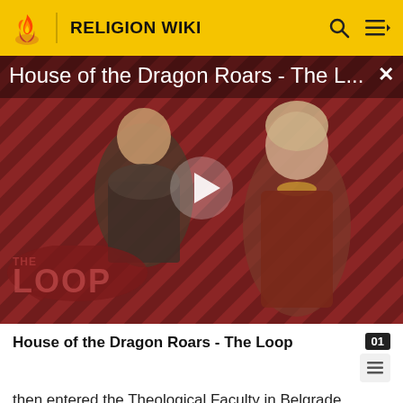RELIGION WIKI
[Figure (screenshot): Video thumbnail for 'House of the Dragon Roars - The L...' showing two fantasy characters against a red diagonal stripe background with THE LOOP watermark and a play button]
House of the Dragon Roars - The Loop
then entered the Theological Faculty in Belgrade, serving in the army after graduating. After military service, he was tonsured a monk in 1959 in Rakovica monastery,